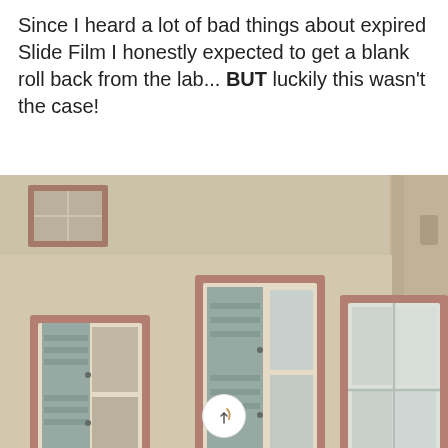Since I heard a lot of bad things about expired Slide Film I honestly expected to get a blank roll back from the lab... BUT luckily this wasn't the case!
[Figure (photo): A film photograph (slide film, vintage tone) showing the facade of a European building with three sets of windows, each with light blue wooden shutters and brownish-pink/mauve window frames. The image has a warm, slightly faded vintage color cast typical of expired slide film.]